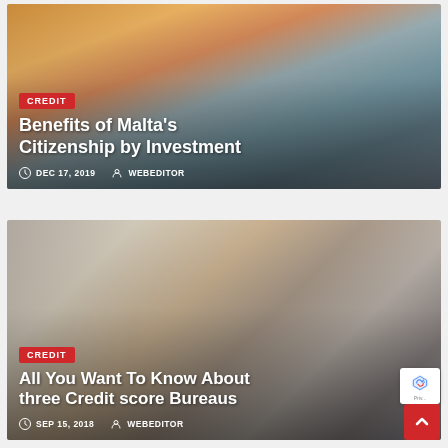[Figure (photo): Aerial photo of Malta cityscape with a tall historic tower/spire, warm golden sunset sky, coastal city view]
CREDIT
Benefits of Malta's Citizenship by Investment
DEC 17, 2019   WEBEDITOR
[Figure (photo): Close-up photo of hands exchanging a blue credit card]
CREDIT
All You Want To Know About three Credit score Bureaus
SEP 15, 2018   WEBEDITOR